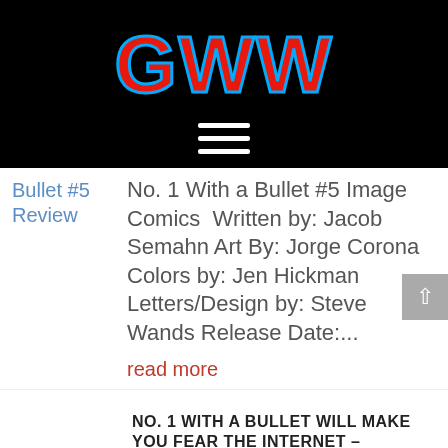[Figure (logo): GWW logo in red with blue outline on black background]
Bullet #5 Review
No. 1 With a Bullet #5 Image Comics  Written by: Jacob Semahn Art By: Jorge Corona Colors by: Jen Hickman Letters/Design by: Steve Wands Release Date:...
read more
NO. 1 WITH A BULLET WILL MAKE YOU FEAR THE INTERNET – PREVIEW
Oct 4, 2017 | Comics, Editorials,